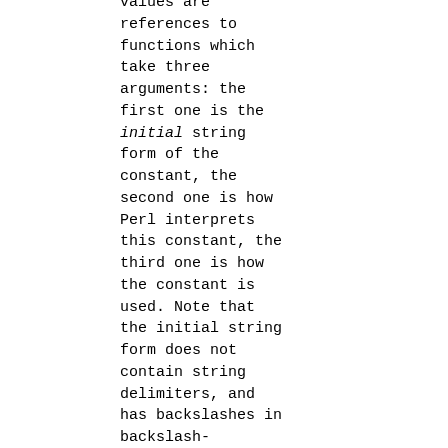values are references to functions which take three arguments: the first one is the initial string form of the constant, the second one is how Perl interprets this constant, the third one is how the constant is used. Note that the initial string form does not contain string delimiters, and has backslashes in backslash-delimiter combinations stripped (thus the value of delimiter is not relevant for processing of this string). The return value of this function is